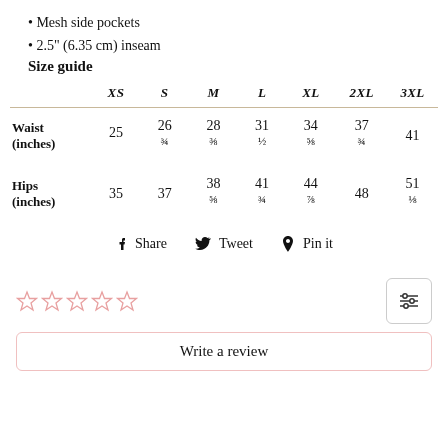Mesh side pockets
2.5" (6.35 cm) inseam
Size guide
|  | XS | S | M | L | XL | 2XL | 3XL |
| --- | --- | --- | --- | --- | --- | --- | --- |
| Waist (inches) | 25 | 26 3/4 | 28 3/8 | 31 1/2 | 34 5/8 | 37 3/4 | 41 |
| Hips (inches) | 35 | 37 | 38 5/8 | 41 3/4 | 44 7/8 | 48 | 51 1/8 |
Share  Tweet  Pin it
★★★★★ (empty stars)
Write a review